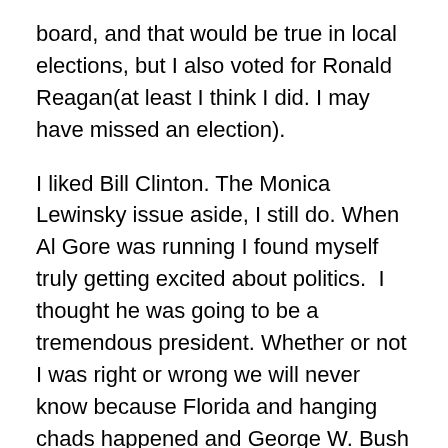board, and that would be true in local elections, but I also voted for Ronald Reagan(at least I think I did. I may have missed an election).
I liked Bill Clinton. The Monica Lewinsky issue aside, I still do. When Al Gore was running I found myself truly getting excited about politics.  I thought he was going to be a tremendous president. Whether or not I was right or wrong we will never know because Florida and hanging chads happened and George W. Bush became president instead.  With the devastation I felt when Gore did not become president and my 3 straight presidential elections voting Democrat, no one would ever have thought I would ever vote for W. That however, is exactly what happened in the next election. Since I greatly approved of his reaction and handling of 9/11, I voted for him when he ran for a second term.  Besides, I wasn't particularly